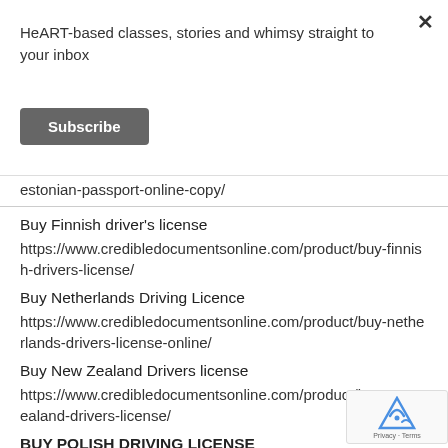HeART-based classes, stories and whimsy straight to your inbox
Subscribe
estonian-passport-online-copy/
Buy Finnish driver's license
https://www.credibledocumentsonline.com/product/buy-finnish-drivers-license/
Buy Netherlands Driving Licence
https://www.credibledocumentsonline.com/product/buy-netherlands-drivers-license-online/
Buy New Zealand Drivers license
https://www.credibledocumentsonline.com/product/buy-new-zealand-drivers-license/
BUY POLISH DRIVING LICENSE